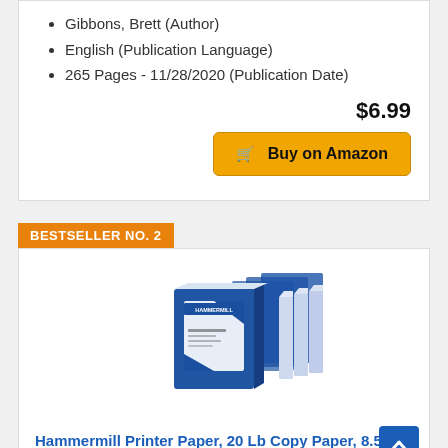Gibbons, Brett (Author)
English (Publication Language)
265 Pages - 11/28/2020 (Publication Date)
$6.99
Buy on Amazon
BESTSELLER NO. 2
[Figure (photo): Hammermill printer paper product photo showing multiple reams stacked together with blue and white packaging]
Hammermill Printer Paper, 20 Lb Copy Paper, 8.5 x 11 - 8 Ream (4,000 Sheets) - 92 Bright,